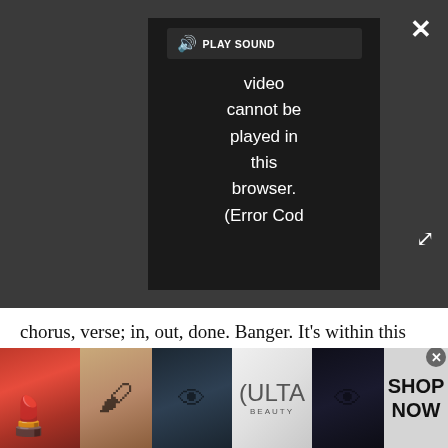[Figure (screenshot): Video player overlay on dark grey background showing error message 'Video cannot be played in this browser. (Error Cod' with PLAY SOUND button, close X button, and expand arrows button]
chorus, verse; in, out, done. Banger. It's within this relative simplicity where Till hides his lyrical dexterity, which is often missed by us English-speaking pillocks.
The gist of Du Hast is homophonous. 'Du hast' = 'You have'. 'Du hasst' = 'You hate'. They sound the same. It's ambiguous, as is the chorus, which you've no doubt mangled in an abattoir of vowels whenever you've sung it: 'Willst du bis der Tod uns scheidet, Treue sein für alle Tage.' Which, roughly translated to gibbon's English, is something along the lines of: 'Do
[Figure (screenshot): ULTA Beauty advertisement banner at bottom of page with makeup/beauty images and SHOP NOW call to action]